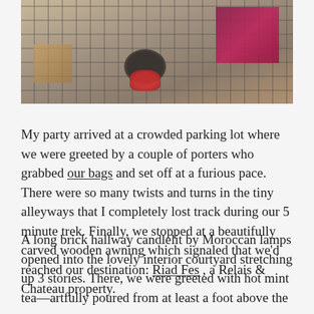[Figure (photo): Aerial or overhead view of a tiled courtyard with a mosaic/grid pattern floor, a round dark table with red flowers, wicker furniture, and a pink/magenta decorative box or luggage on the right side.]
My party arrived at a crowded parking lot where we were greeted by a couple of porters who grabbed our bags and set off at a furious pace. There were so many twists and turns in the tiny alleyways that I completely lost track during our 5 minute trek. Finally, we stopped at a beautifully carved wooden awning which signaled that we'd reached our destination: Riad Fes , a Relais & Chateau property.
A long brick hallway candlelit by Moroccan lamps opened into the lovely interior courtyard stretching up 3 stories. There, we were greeted with hot mint tea—artfully poured from at least a foot above the glass, accompanied by a local pastry.